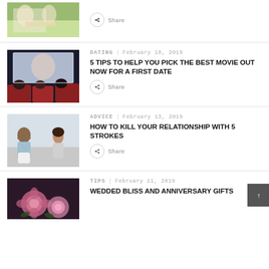[Figure (photo): Couple having a picnic on grass (partial, top of image)]
Share
[Figure (photo): Couple watching a movie in a cinema with red seats]
DATING | February 18, 2019
5 TIPS TO HELP YOU PICK THE BEST MOVIE OUT NOW FOR A FIRST DATE
Share
[Figure (photo): Man and woman sitting apart on a bed, appearing to be in conflict]
ADVICE | February 13, 2019
HOW TO KILL YOUR RELATIONSHIP WITH 5 STROKES
Share
[Figure (photo): Pink roses on a dark background]
TIPS | February 11, 2019
WEDDED BLISS AND ANNIVERSARY GIFTS